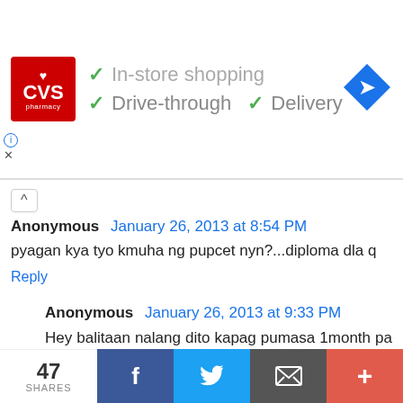[Figure (screenshot): CVS Pharmacy advertisement banner showing logo with checkmarks for In-store shopping, Drive-through, and Delivery options, with a navigation arrow icon on the right]
Anonymous January 26, 2013 at 8:54 PM
pyagan kya tyo kmuha ng pupcet nyn?...diploma dla q
Reply
Anonymous January 26, 2013 at 9:33 PM
Hey balitaan nalang dito kapag pumasa 1month pa ata bago makuha ung result nun pray nalang guys bukas na test natin
Reply
Anonymous January 26, 2013 at 9:35 PM
47 SHARES | Facebook | Twitter | Email | +